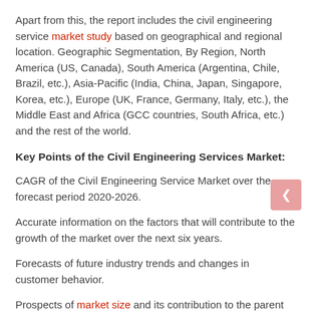Apart from this, the report includes the civil engineering service market study based on geographical and regional location. Geographic Segmentation, By Region, North America (US, Canada), South America (Argentina, Chile, Brazil, etc.), Asia-Pacific (India, China, Japan, Singapore, Korea, etc.), Europe (UK, France, Germany, Italy, etc.), the Middle East and Africa (GCC countries, South Africa, etc.) and the rest of the world.
Key Points of the Civil Engineering Services Market:
CAGR of the Civil Engineering Service Market over the forecast period 2020-2026.
Accurate information on the factors that will contribute to the growth of the market over the next six years.
Forecasts of future industry trends and changes in customer behavior.
Prospects of market size and its contribution to the parent market.